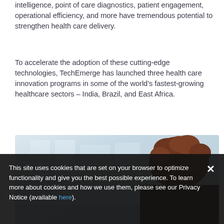intelligence, point of care diagnostics, patient engagement, operational efficiency, and more have tremendous potential to strengthen health care delivery.
To accelerate the adoption of these cutting-edge technologies, TechEmerge has launched three health care innovation programs in some of the world's fastest-growing healthcare sectors – India, Brazil, and East Africa.
[Figure (photo): Photo of a person with curly dark reddish-brown hair seen from behind, in a blurred light blue/white office environment]
This site uses cookies that are set on your browser to optimize functionality and give you the best possible experience. To learn more about cookies and how we use them, please see our Privacy Notice (available here).